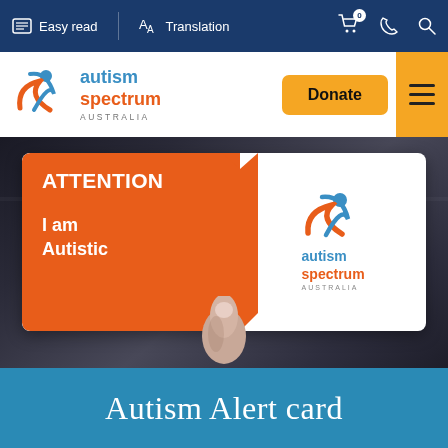Easy read  Translation
[Figure (logo): Autism Spectrum Australia logo with orange and blue figure icon, text: autism spectrum AUSTRALIA]
[Figure (screenshot): Website screenshot showing Autism Spectrum Australia website with Donate button and hamburger menu]
[Figure (photo): Photo of a hand holding an Autism Alert card with orange section saying ATTENTION I am Autistic and Autism Spectrum Australia logo]
Autism Alert card